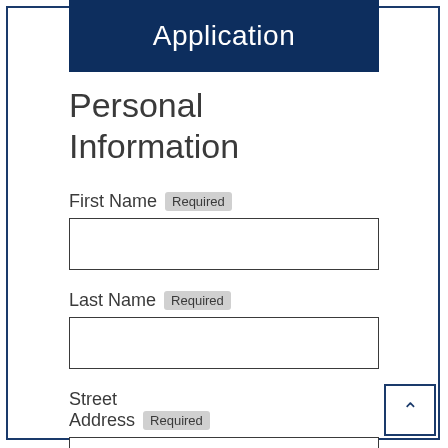Application
Personal Information
First Name Required
Last Name Required
Street Address Required